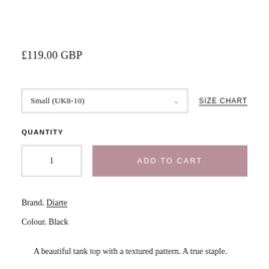£119.00 GBP
Small (UK8-10)
SIZE CHART
QUANTITY
1
ADD TO CART
Brand. Diarte
Colour. Black
A beautiful tank top with a textured pattern. A true staple.